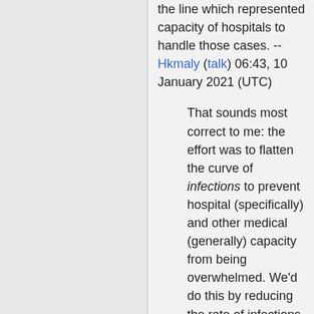the line which represented capacity of hospitals to handle those cases. -- Hkmaly (talk) 06:43, 10 January 2021 (UTC)
That sounds most correct to me: the effort was to flatten the curve of infections to prevent hospital (specifically) and other medical (generally) capacity from being overwhelmed. We'd do this by reducing the rate of infections through